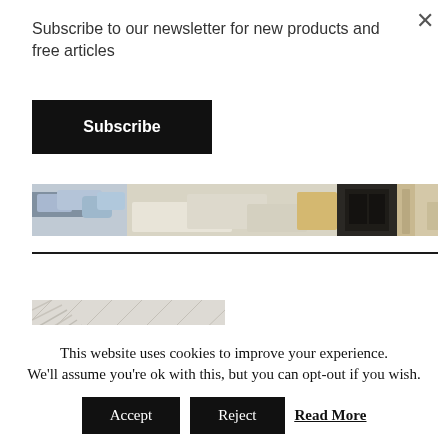Subscribe to our newsletter for new products and free articles
Subscribe
[Figure (photo): Horizontal strip image of a living room with sofas, cushions, and furniture]
[Figure (photo): Close-up photo of a textured knit or woven fabric in beige/cream tones]
This website uses cookies to improve your experience. We'll assume you're ok with this, but you can opt-out if you wish.
Accept
Reject
Read More